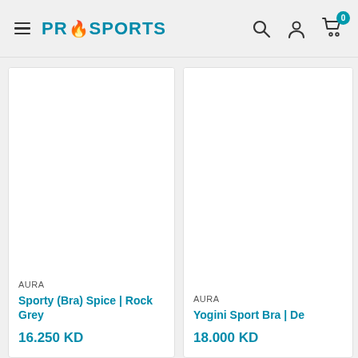PRO SPORTS
[Figure (photo): White blank product image area for Sporty (Bra) Spice | Rock Grey]
AURA
Sporty (Bra) Spice | Rock Grey
16.250 KD
[Figure (photo): White blank product image area for Yogini Sport Bra | De...]
AURA
Yogini Sport Bra | De
18.000 KD